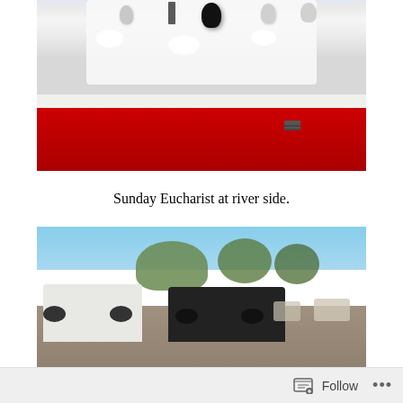[Figure (photo): Close-up photo of communion/Eucharist items (chalice, vessels) on a white cloth on top of a red and white cooler, viewed from above]
Sunday Eucharist at river side.
[Figure (photo): Outdoor parking lot scene with a white tow truck towing a dark pickup truck, trees in the background under a blue sky]
Follow ···